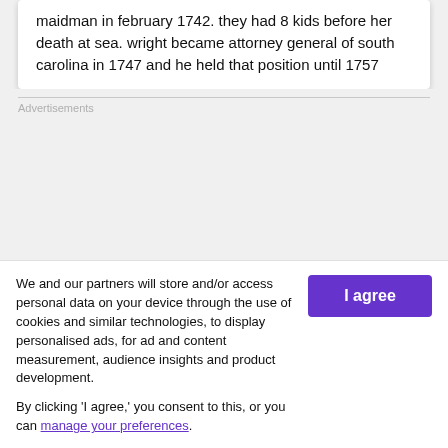maidman in february 1742. they had 8 kids before her death at sea. wright became attorney general of south carolina in 1747 and he held that position until 1757
Advertisements
We and our partners will store and/or access personal data on your device through the use of cookies and similar technologies, to display personalised ads, for ad and content measurement, audience insights and product development.

By clicking 'I agree,' you consent to this, or you can manage your preferences.
I agree